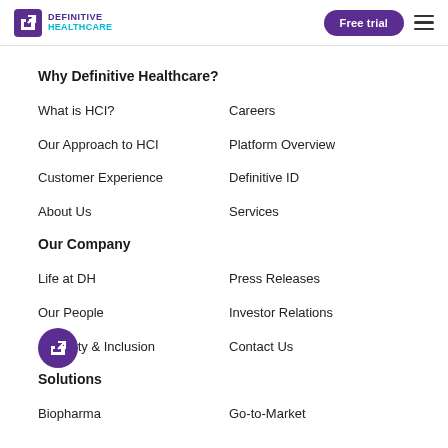Definitive Healthcare | Free trial
Why Definitive Healthcare?
What is HCI?
Careers
Our Approach to HCI
Platform Overview
Customer Experience
Definitive ID
About Us
Services
Our Company
Life at DH
Press Releases
Our People
Investor Relations
Diversity & Inclusion
Contact Us
Solutions
Biopharma
Go-to-Market